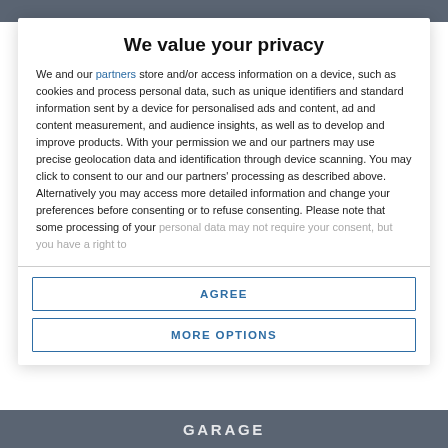We value your privacy
We and our partners store and/or access information on a device, such as cookies and process personal data, such as unique identifiers and standard information sent by a device for personalised ads and content, ad and content measurement, and audience insights, as well as to develop and improve products. With your permission we and our partners may use precise geolocation data and identification through device scanning. You may click to consent to our and our partners' processing as described above. Alternatively you may access more detailed information and change your preferences before consenting or to refuse consenting. Please note that some processing of your personal data may not require your consent, but you have a right to
AGREE
MORE OPTIONS
GARAGE